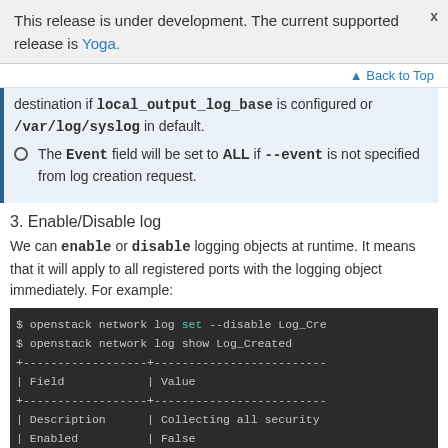This release is under development. The current supported release is Yoga.
Back to Top
destination if local_output_log_base is configured or /var/log/syslog in default.
The Event field will be set to ALL if --event is not specified from log creation request.
3. Enable/Disable log
We can enable or disable logging objects at runtime. It means that it will apply to all registered ports with the logging object immediately. For example:
[Figure (screenshot): Terminal code block showing openstack network log set --disable Log_Cre... and openstack network log show Log_Created commands with a table output showing Field and Value columns, with rows for Description (Collecting all security) and Enabled (False...)]